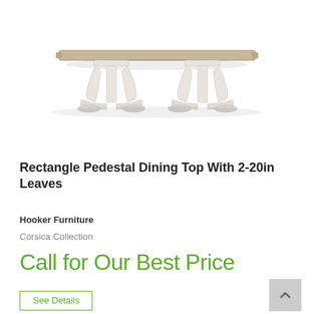[Figure (photo): A rectangular pedestal dining table with a wood-toned top and two white ornate trestle-style pedestal bases, viewed from a slightly elevated front angle.]
Rectangle Pedestal Dining Top With 2-20in Leaves
Hooker Furniture
Corsica Collection
Call for Our Best Price
See Details